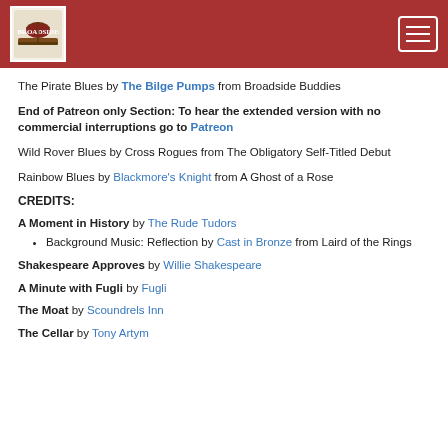Navigation header with logo and hamburger menu
The Pirate Blues by The Bilge Pumps from Broadside Buddies
End of Patreon only Section: To hear the extended version with no commercial interruptions go to Patreon
Wild Rover Blues by Cross Rogues from The Obligatory Self-Titled Debut
Rainbow Blues by Blackmore's Knight from A Ghost of a Rose
CREDITS:
A Moment in History by The Rude Tudors
Background Music: Reflection by Cast in Bronze from Laird of the Rings
Shakespeare Approves by Willie Shakespeare
A Minute with Fugli by Fugli
The Moat by Scoundrels Inn
The Cellar by Tony Artym